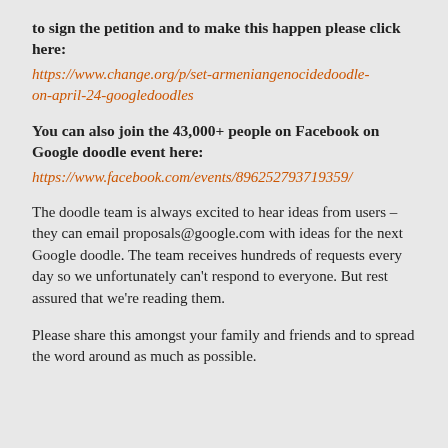to sign the petition and to make this happen please click here:
https://www.change.org/p/set-armeniangenocidedoodle-on-april-24-googledoodles
You can also join the 43,000+ people on Facebook on Google doodle event here:
https://www.facebook.com/events/896252793719359/
The doodle team is always excited to hear ideas from users – they can email proposals@google.com with ideas for the next Google doodle. The team receives hundreds of requests every day so we unfortunately can't respond to everyone. But rest assured that we're reading them.
Please share this amongst your family and friends and to spread the word around as much as possible.